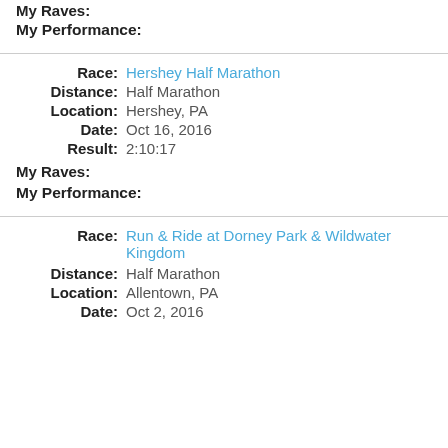My Raves:
My Performance:
Race: Hershey Half Marathon
Distance: Half Marathon
Location: Hershey, PA
Date: Oct 16, 2016
Result: 2:10:17
My Raves:
My Performance:
Race: Run & Ride at Dorney Park & Wildwater Kingdom
Distance: Half Marathon
Location: Allentown, PA
Date: Oct 2, 2016